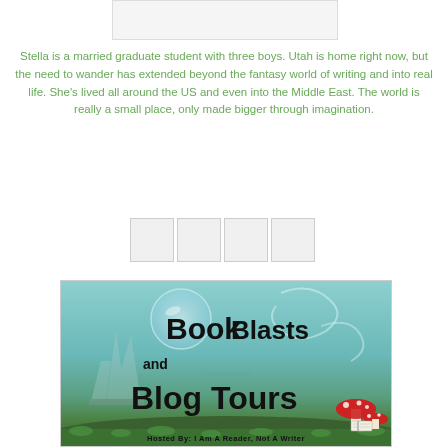[Figure (photo): Top placeholder image area (author photo)]
Stella is a married graduate student with three boys. Utah is home right now, but the need to wander has extended beyond the fantasy world of writing and into real life. She's lived all around the US and even into the Middle East. The world is really a small place, only made bigger through imagination.
[Figure (other): Four social media icon boxes in a row]
[Figure (illustration): Book Blasts and Blog Tours banner. Hosted By: I Am A Reader, Not A Writer]